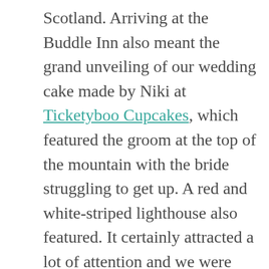Scotland. Arriving at the Buddle Inn also meant the grand unveiling of our wedding cake made by Niki at Ticketyboo Cupcakes, which featured the groom at the top of the mountain with the bride struggling to get up. A red and white-striped lighthouse also featured. It certainly attracted a lot of attention and we were pleased that everyone liked the cake, which we’d put a lot of thought into. It was the first time we’d seen it too and we were amazed! It was a fantastic day and I was delighted when Bob originally suggested getting married on the Isle of Wight and his choice